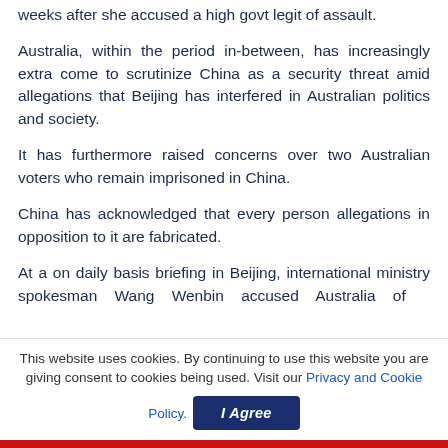weeks after she accused a high govt legit of assault.
Australia, within the period in-between, has increasingly extra come to scrutinize China as a security threat amid allegations that Beijing has interfered in Australian politics and society.
It has furthermore raised concerns over two Australian voters who remain imprisoned in China.
China has acknowledged that every person allegations in opposition to it are fabricated.
At a on daily basis briefing in Beijing, international ministry spokesman Wang Wenbin accused Australia of
This website uses cookies. By continuing to use this website you are giving consent to cookies being used. Visit our Privacy and Cookie Policy.
I Agree